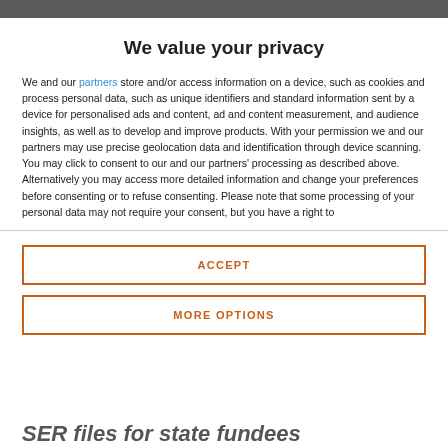We value your privacy
We and our partners store and/or access information on a device, such as cookies and process personal data, such as unique identifiers and standard information sent by a device for personalised ads and content, ad and content measurement, and audience insights, as well as to develop and improve products. With your permission we and our partners may use precise geolocation data and identification through device scanning. You may click to consent to our and our partners' processing as described above. Alternatively you may access more detailed information and change your preferences before consenting or to refuse consenting. Please note that some processing of your personal data may not require your consent, but you have a right to
ACCEPT
MORE OPTIONS
SER files for state fundees